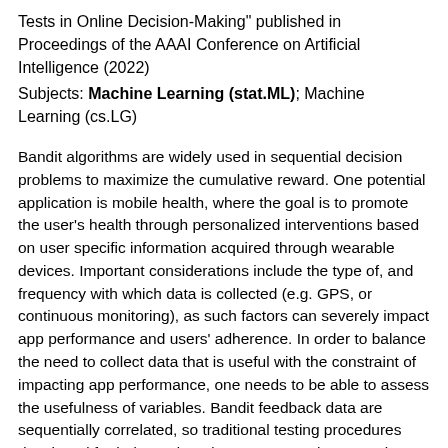Tests in Online Decision-Making" published in Proceedings of the AAAI Conference on Artificial Intelligence (2022)
Subjects: Machine Learning (stat.ML); Machine Learning (cs.LG)
Bandit algorithms are widely used in sequential decision problems to maximize the cumulative reward. One potential application is mobile health, where the goal is to promote the user's health through personalized interventions based on user specific information acquired through wearable devices. Important considerations include the type of, and frequency with which data is collected (e.g. GPS, or continuous monitoring), as such factors can severely impact app performance and users' adherence. In order to balance the need to collect data that is useful with the constraint of impacting app performance, one needs to be able to assess the usefulness of variables. Bandit feedback data are sequentially correlated, so traditional testing procedures developed for independent data cannot apply. Recently, a statistical testing procedure was developed for the actor-critic bandit algorithm. An actor-critic algorithm maintains two separate models, one for the actor, the action selection policy, and the other for the critic, the reward model. The performance of the algorithm as well as the validity of the test are guaranteed only when the critic model is correctly